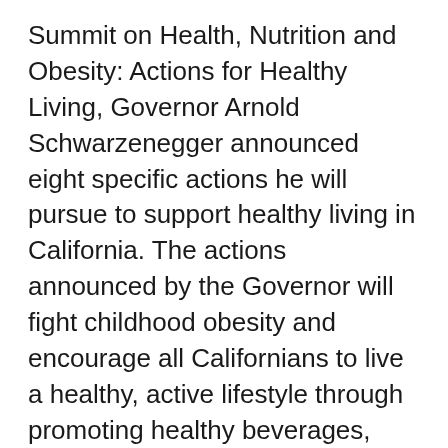Summit on Health, Nutrition and Obesity: Actions for Healthy Living, Governor Arnold Schwarzenegger announced eight specific actions he will pursue to support healthy living in California. The actions announced by the Governor will fight childhood obesity and encourage all Californians to live a healthy, active lifestyle through promoting healthy beverages, increasing physical activity and incorporating the idea of “health in all policies.”
“My top priorities include the health and well-being of our children and all Californians, and reducing obesity will help improve both,” said Governor Schwarzenegger. “At the 2010 Summit on Health, Nutrition and Obesity, we